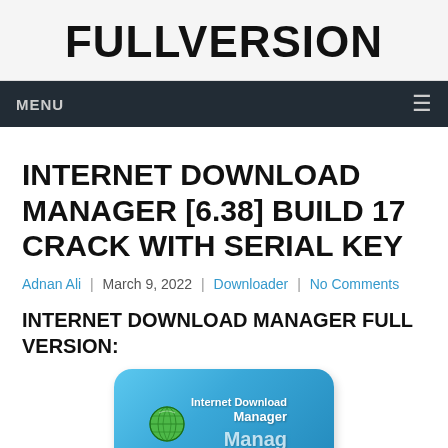FULLVERSION
MENU
INTERNET DOWNLOAD MANAGER [6.38] BUILD 17 CRACK WITH SERIAL KEY
Adnan Ali | March 9, 2022 | Downloader | No Comments
INTERNET DOWNLOAD MANAGER FULL VERSION:
[Figure (logo): Internet Download Manager logo on a blue rounded rectangle background with a globe icon and the text Internet Download Manager]